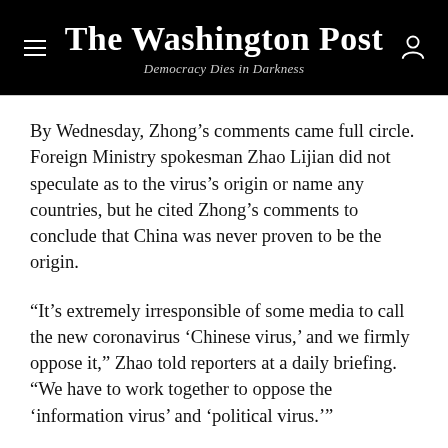The Washington Post
Democracy Dies in Darkness
By Wednesday, Zhong’s comments came full circle. Foreign Ministry spokesman Zhao Lijian did not speculate as to the virus’s origin or name any countries, but he cited Zhong’s comments to conclude that China was never proven to be the origin.
“It’s extremely irresponsible of some media to call the new coronavirus ‘Chinese virus,’ and we firmly oppose it,” Zhao told reporters at a daily briefing. “We have to work together to oppose the ‘information virus’ and ‘political virus.’”
[Coronavirus tests Xi’s ‘heavenly mandate,’ but proves